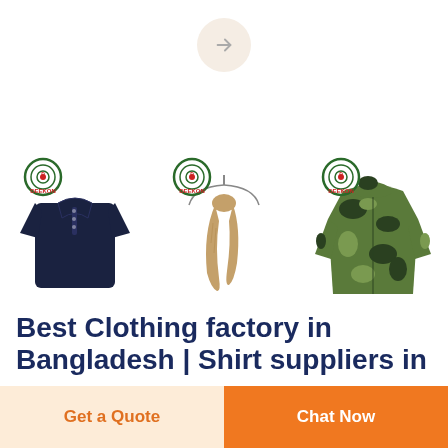[Figure (illustration): Navigation arrow button — circular beige/cream background with a right-pointing arrow icon]
[Figure (photo): Deekon logo and product image: dark navy blue long-sleeve polo/henley shirt]
[Figure (photo): Deekon logo and product image: tan/beige lightweight scarf on a hanger]
[Figure (photo): Deekon logo and product image: green camouflage hooded long raincoat/jacket]
Best Clothing factory in Bangladesh | Shirt suppliers in
Get a Quote
Chat Now